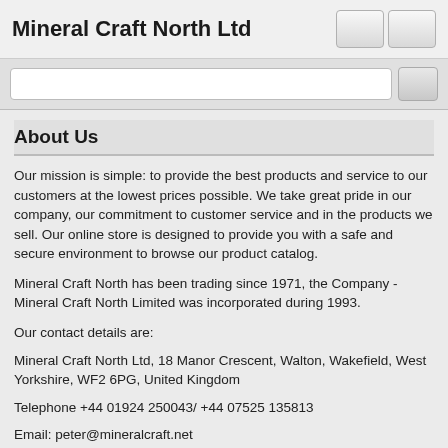Mineral Craft North Ltd
About Us
Our mission is simple: to provide the best products and service to our customers at the lowest prices possible. We take great pride in our company, our commitment to customer service and in the products we sell. Our online store is designed to provide you with a safe and secure environment to browse our product catalog.
Mineral Craft North has been trading since 1971, the Company - Mineral Craft North Limited was incorporated during 1993.
Our contact details are:
Mineral Craft North Ltd, 18 Manor Crescent, Walton, Wakefield, West Yorkshire, WF2 6PG, United Kingdom
Telephone +44 01924 250043/ +44 07525 135813
Email: peter@mineralcraft.net